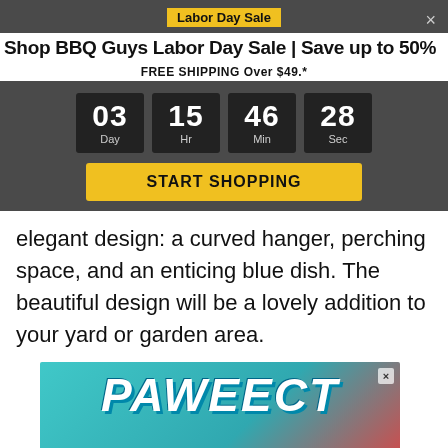Labor Day Sale
Shop BBQ Guys Labor Day Sale | Save up to 50%
FREE SHIPPING Over $49.*
[Figure (infographic): Countdown timer showing 03 Day, 15 Hr, 46 Min, 28 Sec with a START SHOPPING button]
elegant design: a curved hanger, perching space, and an enticing blue dish. The beautiful design will be a lovely addition to your yard or garden area.
[Figure (advertisement): PAWEECT advertisement banner with teal background]
[Figure (advertisement): BEST FRIENDS FOREVER pet advertisement with cats and red background]